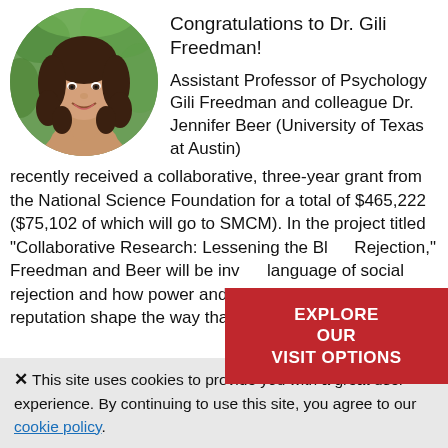[Figure (photo): Circular headshot photo of Dr. Gili Freedman, a young woman with long dark curly hair, smiling, outdoors with green background]
Congratulations to Dr. Gili Freedman!
Assistant Professor of Psychology Gili Freedman and colleague Dr. Jennifer Beer (University of Texas at Austin) recently received a collaborative, three-year grant from the National Science Foundation for a total of $465,222 ($75,102 of which will go to SMCM). In the project titled "Collaborative Research: Lessening the Bl[ow of] Rejection," Freedman and Beer will be inv[estigating the] language of social rejection and how power and concern for one's reputation shape the way that individuals reject
[Figure (other): Red call-to-action button overlay reading EXPLORE OUR VISIT OPTIONS]
This site uses cookies to provide you with a great user experience. By continuing to use this site, you agree to our cookie policy.